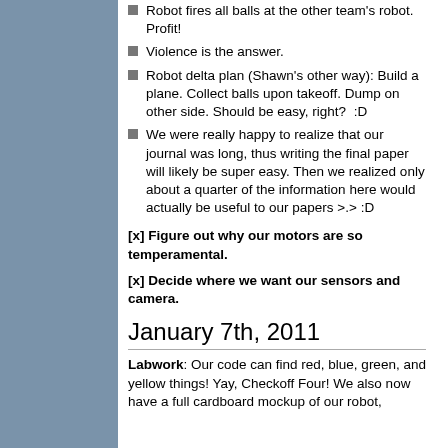Robot fires all balls at the other team's robot. Profit!
Violence is the answer.
Robot delta plan (Shawn's other way): Build a plane. Collect balls upon takeoff. Dump on other side. Should be easy, right?  :D
We were really happy to realize that our journal was long, thus writing the final paper will likely be super easy. Then we realized only about a quarter of the information here would actually be useful to our papers >.> :D
[x] Figure out why our motors are so temperamental.
[x] Decide where we want our sensors and camera.
January 7th, 2011
Labwork: Our code can find red, blue, green, and yellow things! Yay, Checkoff Four! We also now have a full cardboard mockup of our robot,